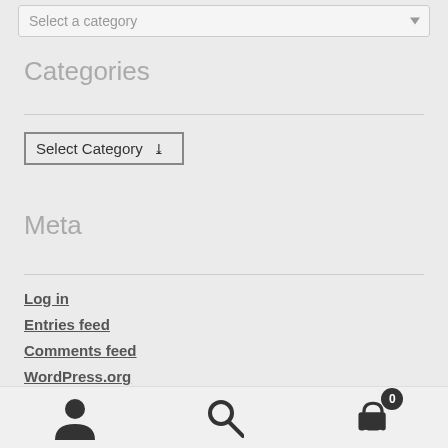[Figure (screenshot): Dropdown selector showing 'Select a category' with a downward arrow indicator]
Categories
[Figure (screenshot): Dropdown selector showing 'Select Category' with a downward chevron]
Meta
Log in
Entries feed
Comments feed
WordPress.org
[Figure (screenshot): Bottom navigation bar with user icon, search icon, and cart icon showing badge count of 0]